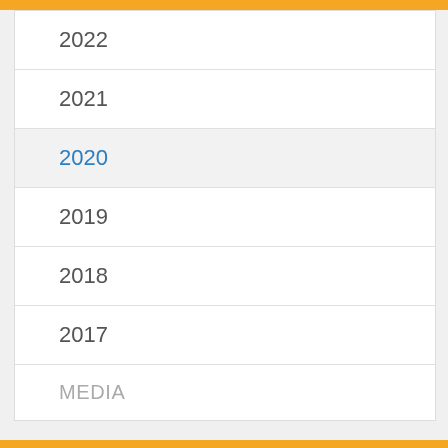2022
2021
2020
2019
2018
2017
MEDIA